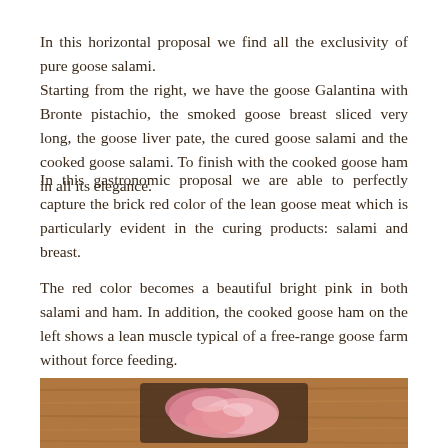In this horizontal proposal we find all the exclusivity of pure goose salami.
Starting from the right, we have the goose Galantina with Bronte pistachio, the smoked goose breast sliced very long, the goose liver pate, the cured goose salami and the cooked goose salami. To finish with the cooked goose ham in all its elegance.
In this gastronomic proposal we are able to perfectly capture the brick red color of the lean goose meat which is particularly evident in the curing products: salami and breast.
The red color becomes a beautiful bright pink in both salami and ham. In addition, the cooked goose ham on the left shows a lean muscle typical of a free-range goose farm without force feeding.
[Figure (photo): Photo of sliced goose ham/salami arranged on a dark wooden cutting board, showing bright pink meat with a warm wooden background.]